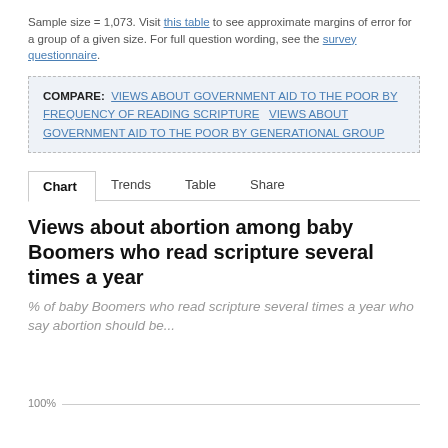Sample size = 1,073. Visit this table to see approximate margins of error for a group of a given size. For full question wording, see the survey questionnaire.
COMPARE: VIEWS ABOUT GOVERNMENT AID TO THE POOR BY FREQUENCY OF READING SCRIPTURE   VIEWS ABOUT GOVERNMENT AID TO THE POOR BY GENERATIONAL GROUP
Chart   Trends   Table   Share
Views about abortion among baby Boomers who read scripture several times a year
% of baby Boomers who read scripture several times a year who say abortion should be...
[Figure (other): Partial chart view showing 100% gridline at the bottom of the visible area]